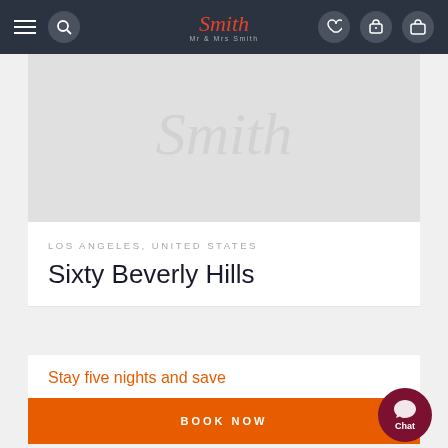[Figure (screenshot): Mr & Mrs Smith hotel booking website navigation bar with hamburger menu, search icon, logo, phone, heart, and luggage icons]
[Figure (photo): Hotel hero image placeholder with Mr & Mrs Smith watermark logo on light grey background]
LOS ANGELES, UNITED STATES
Sixty Beverly Hills
Stay five nights and save
BOOK NOW
[Figure (illustration): Chat support bubble button in dark red with 'Chat' text]